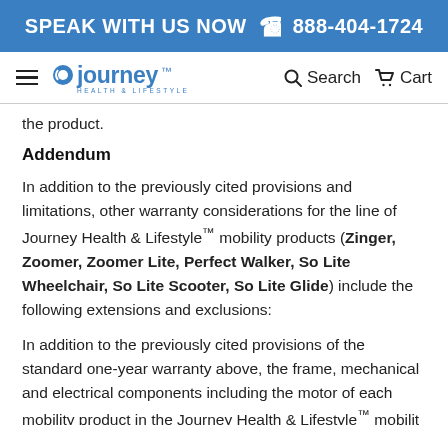SPEAK WITH US NOW ☎ 888-404-1724
[Figure (logo): Journey Health & Lifestyle logo with hamburger menu, search and cart icons]
the product.
Addendum
In addition to the previously cited provisions and limitations, other warranty considerations for the line of Journey Health & Lifestyle™ mobility products (Zinger, Zoomer, Zoomer Lite, Perfect Walker, So Lite Wheelchair, So Lite Scooter, So Lite Glide) include the following extensions and exclusions:
In addition to the previously cited provisions of the standard one-year warranty above, the frame, mechanical and electrical components including the motor of each mobility product in the Journey Health & Lifestyle™ mobilit